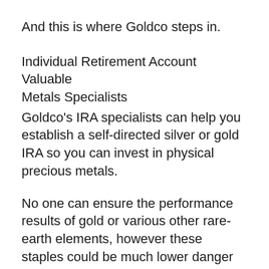And this is where Goldco steps in.
Individual Retirement Account Valuable Metals Specialists
Goldco's IRA specialists can help you establish a self-directed silver or gold IRA so you can invest in physical precious metals.
No one can ensure the performance results of gold or various other rare-earth elements, however these staples could be much lower danger than lots of other readily available investments.
Maturing in a family of coin collectors, Gerzst rapidly established considerable knowledge regarding coins and also precious metals.